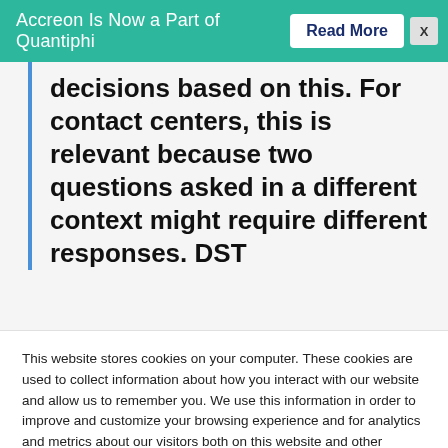Accreon Is Now a Part of Quantiphi  Read More  X
decisions based on this. For contact centers, this is relevant because two questions asked in a different context might require different responses. DST
This website stores cookies on your computer. These cookies are used to collect information about how you interact with our website and allow us to remember you. We use this information in order to improve and customize your browsing experience and for analytics and metrics about our visitors both on this website and other media. To find out more about the cookies we use, see our Privacy Policy. If you decline, your information won't be tracked when you visit this website. A single cookie will be used in your browser to remember your preference not to be tracked.
Cookie settings
ACCEPT
REJECT